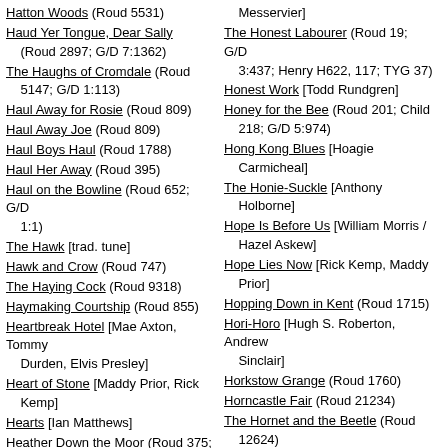Hatton Woods (Roud 5531)
Haud Yer Tongue, Dear Sally (Roud 2897; G/D 7:1362)
The Haughs of Cromdale (Roud 5147; G/D 1:113)
Haul Away for Rosie (Roud 809)
Haul Away Joe (Roud 809)
Haul Boys Haul (Roud 1788)
Haul Her Away (Roud 395)
Haul on the Bowline (Roud 652; G/D 1:1)
The Hawk [trad. tune]
Hawk and Crow (Roud 747)
The Haying Cock (Roud 9318)
Haymaking Courtship (Roud 855)
Heartbreak Hotel [Mae Axton, Tommy Durden, Elvis Presley]
Heart of Stone [Maddy Prior, Rick Kemp]
Hearts [Ian Matthews]
Heather Down the Moor (Roud 375; Henry H177)
Heave Away My Johnny (Roud
Messervier]
The Honest Labourer (Roud 19; G/D 3:437; Henry H622, 117; TYG 37)
Honest Work [Todd Rundgren]
Honey for the Bee (Roud 201; Child 218; G/D 5:974)
Hong Kong Blues [Hoagie Carmicheal]
The Honie-Suckle [Anthony Holborne]
Hope Is Before Us [William Morris / Hazel Askew]
Hope Lies Now [Rick Kemp, Maddy Prior]
Hopping Down in Kent (Roud 1715)
Hori-Horo [Hugh S. Roberton, Andrew Sinclair]
Horkstow Grange (Roud 1760)
Horncastle Fair (Roud 21234)
The Hornet and the Beetle (Roud 12624)
Horn Fair (Roud 2482)
The Horn of the Hunter [Jackson